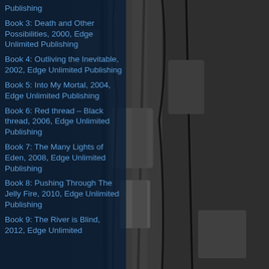[Figure (photo): Dark grayscale photograph of cracked tree bark with deep vertical fissures, filling the right half and background of the page.]
Publishing
Book 3: Death and Other Possibilities, 2000, Edge Unlimited Publishing
Book 4: Outliving the Inevitable, 2002, Edge Unlimited Publishing
Book 5: Into My Mortal, 2004, Edge Unlimited Publishing
Book 6: Red thread – Black thread, 2006, Edge Unlimited Publishing
Book 7: The Many Lights of Eden, 2008, Edge Unlimited Publishing
Book 8: Pushing Through The Jelly Fire, 2010, Edge Unlimited Publishing
Book 9: The River is Blind, 2012, Edge Unlimited